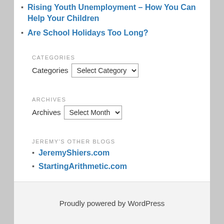Rising Youth Unemployment – How You Can Help Your Children
Are School Holidays Too Long?
CATEGORIES
Categories  Select Category
ARCHIVES
Archives  Select Month
JEREMY'S OTHER BLOGS
JeremyShiers.com
StartingArithmetic.com
Proudly powered by WordPress